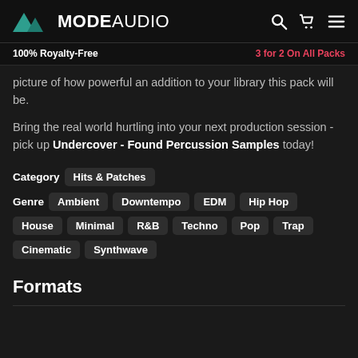MODE AUDIO
100% Royalty-Free    3 for 2 On All Packs
picture of how powerful an addition to your library this pack will be.
Bring the real world hurtling into your next production session - pick up Undercover - Found Percussion Samples today!
Category  Hits & Patches
Genre  Ambient  Downtempo  EDM  Hip Hop  House  Minimal  R&B  Techno  Pop  Trap  Cinematic  Synthwave
Formats